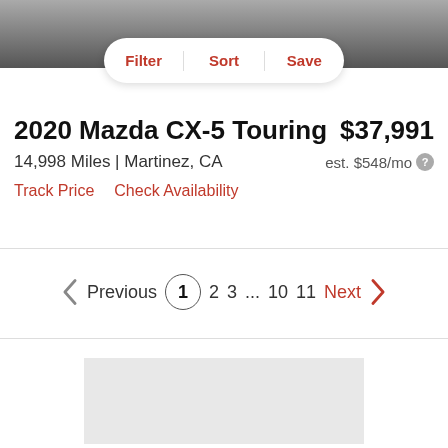[Figure (photo): Partial front/top view of a car, dark colored vehicle on pavement]
Filter  Sort  Save
2020 Mazda CX-5 Touring
$37,991
14,998 Miles | Martinez, CA
est. $548/mo
Track Price   Check Availability
Previous  1  2  3  ...  10  11  Next